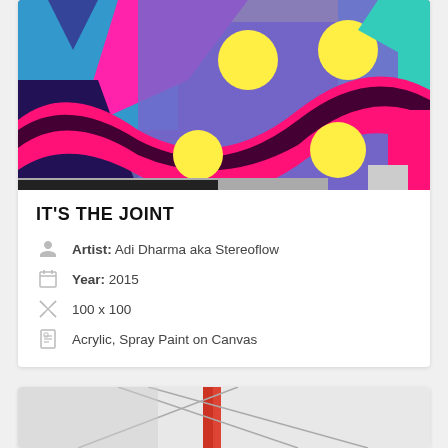[Figure (photo): Colorful abstract geometric artwork with bright pink, blue, purple, yellow and teal shapes, wavy ribbons and polka dots]
IT'S THE JOINT
Artist: Adi Dharma aka Stereoflow
Year: 2015
100 x 100
Acrylic, Spray Paint on Canvas
[Figure (photo): Partial view of abstract artwork with red vertical element and diagonal lines on light gray background]